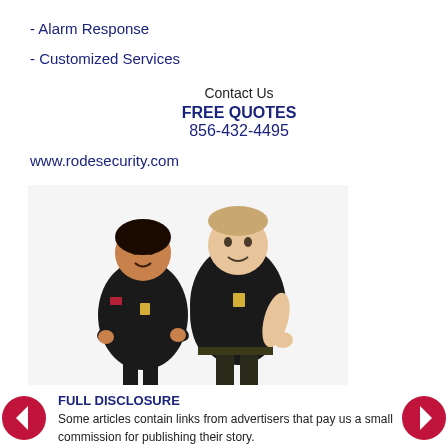- Alarm Response
- Customized Services
Contact Us
FREE QUOTES
856-432-4495
www.rodesecurity.com
[Figure (photo): Two security guards in black uniforms standing together, a woman with arms crossed on the left and a man on the right.]
FULL DISCLOSURE
Some articles contain links from advertisers that pay us a small commission for publishing their story.